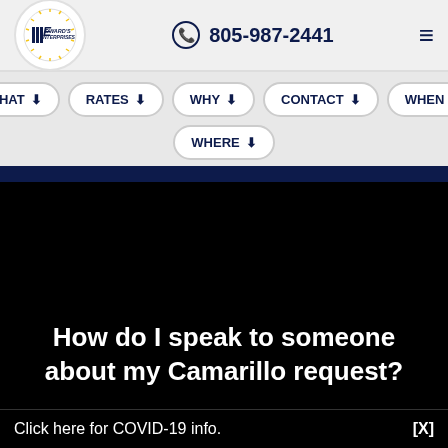[Figure (logo): Edward's Enterprises logo — circular logo with radiating lines and company name]
805-987-2441
≡
WHAT
RATES
WHY
CONTACT
WHEN
WHERE
How do I speak to someone about my Camarillo request?
Click here for COVID-19 info.
[X]